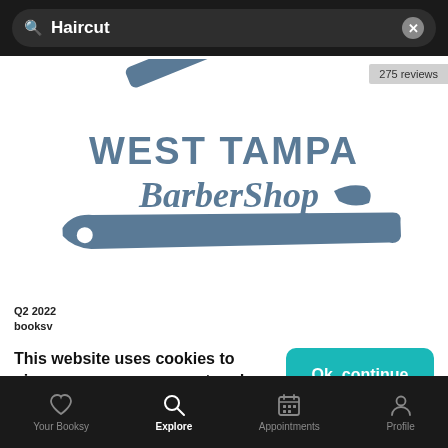Haircut
275 reviews
[Figure (logo): West Tampa BarberShop logo with a straight razor graphic — steel-blue colored text and illustration]
Q2 2022
booksv
This website uses cookies to give you an awesome, catered user experience.
Continuing on after seeing this message means that you're cool with that.
Ok, continue
Your Booksy   Explore   Appointments   Profile